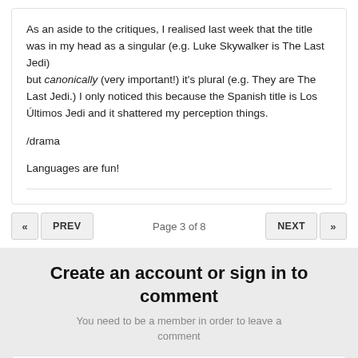As an aside to the critiques, I realised last week that the title was in my head as a singular (e.g. Luke Skywalker is The Last Jedi) but canonically (very important!) it's plural (e.g. They are The Last Jedi.) I only noticed this because the Spanish title is Los Últimos Jedi and it shattered my perception things.

/drama

Languages are fun!
Page 3 of 8
Create an account or sign in to comment
You need to be a member in order to leave a comment
Create an account
Sign up for a new account in our community.